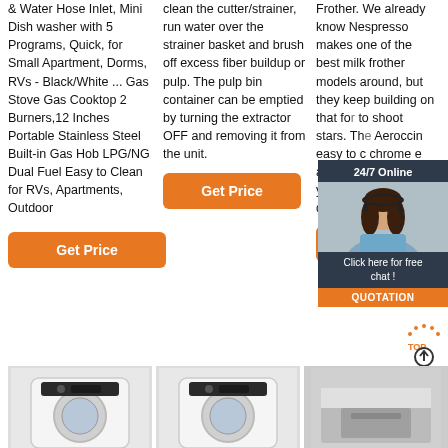& Water Hose Inlet, Mini Dish washer with 5 Programs, Quick, for Small Apartment, Dorms, RVs - Black/White ... Gas Stove Gas Cooktop 2 Burners,12 Inches Portable Stainless Steel Built-in Gas Hob LPG/NG Dual Fuel Easy to Clean for RVs, Apartments, Outdoor
clean the cutter/strainer, run water over the strainer basket and brush off excess fiber buildup or pulp. The pulp bin container can be emptied by turning the extractor OFF and removing it from the unit.
Frother. We already know Nespresso makes one of the best milk frother models around, but they keep building on that for to shoot stars. The Aeroccin easy to c chrome e and whis you hand your dish throw it i dishwasher.
Get Price (column 2)
Get Price (column 1)
Get Price (column 3)
[Figure (photo): Customer service agent woman, 24/7 Online chat overlay with orange QUOTATION button]
[Figure (illustration): TOP scroll-to-top button with orange dot arrows above]
[Figure (photo): Washing machine front loader, white, bottom left]
[Figure (photo): Washing machine front loader, white, bottom center]
[Figure (photo): Kitchen appliance or dishwasher, bottom right]